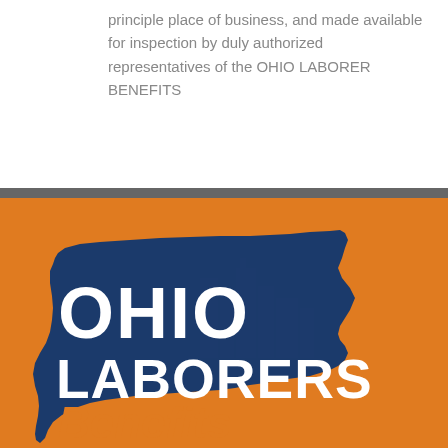principle place of business, and made available for inspection by duly authorized representatives of the OHIO LABORER BENEFITS
[Figure (logo): Ohio Laborers Benefits logo: white text 'OHIO LABORERS' and orange 'Benefits' on a dark blue Ohio state shape silhouette, set against an orange background]